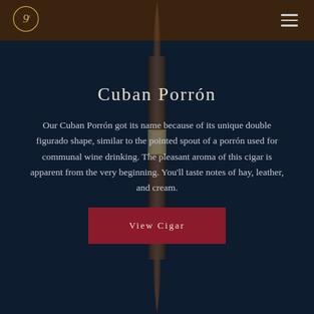[Figure (logo): Circular gold logo emblem in top-left corner]
Cuban Porrón
Our Cuban Porrón got its name because of its unique double figurado shape, similar to the pointed spout of a porrón used for communal wine drinking. The pleasant aroma of this cigar is apparent from the very beginning. You'll taste notes of hay, leather, and cream.
[Figure (photo): A pointed cigar (double figurado/porrón shape) centered vertically on the page, overlaid on dark navy background]
View Cigar